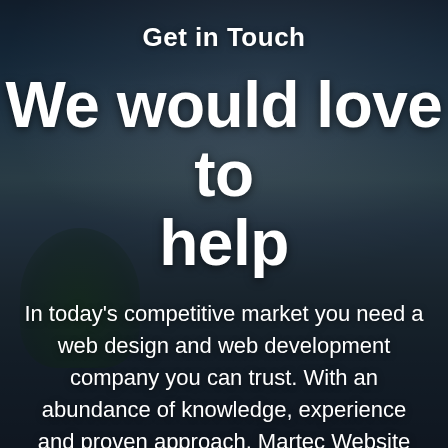[Figure (photo): Background photo of a cityscape with blue cloudy sky, trees, and buildings, overlaid with a dark semi-transparent layer]
Get in Touch
We would love to help
In today's competitive market you need a web design and web development company you can trust. With an abundance of knowledge, experience and proven approach, Martec Website